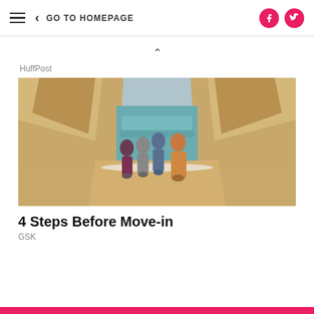GO TO HOMEPAGE
HuffPost
[Figure (photo): Family of four — a woman, two boys, and a girl — posing on a beach with dramatic sandstone cliffs forming a gorge behind them, with turquoise water visible between the cliffs.]
4 Steps Before Move-in
GSK